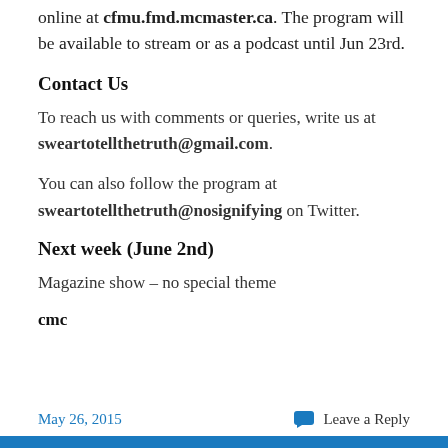online at cfmu.fmd.mcmaster.ca. The program will be available to stream or as a podcast until Jun 23rd.
Contact Us
To reach us with comments or queries, write us at sweartotellthetruth@gmail.com.
You can also follow the program at sweartotellthetruth@nosignifying on Twitter.
Next week (June 2nd)
Magazine show – no special theme
cmc
May 26, 2015   Leave a Reply